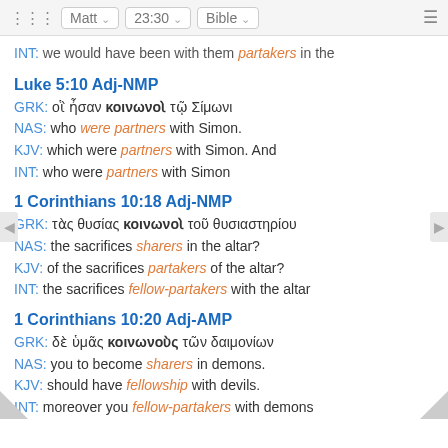Matt 23:30 Bible
INT: we would have been with them partakers in the
Luke 5:10 Adj-NMP
GRK: οἳ ἦσαν κοινωνοὶ τῷ Σίμωνι
NAS: who were partners with Simon.
KJV: which were partners with Simon. And
INT: who were partners with Simon
1 Corinthians 10:18 Adj-NMP
GRK: τὰς θυσίας κοινωνοὶ τοῦ θυσιαστηρίου
NAS: the sacrifices sharers in the altar?
KJV: of the sacrifices partakers of the altar?
INT: the sacrifices fellow-partakers with the altar
1 Corinthians 10:20 Adj-AMP
GRK: δὲ ὑμᾶς κοινωνοὺς τῶν δαιμονίων
NAS: you to become sharers in demons.
KJV: should have fellowship with devils.
INT: moreover you fellow-partakers with demons